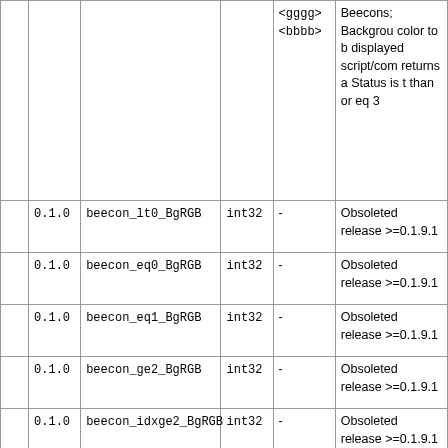|  | Version | Parameter | Type | Default | Description |
| --- | --- | --- | --- | --- | --- |
|  |  |  |  | <gggg>
<bbbb> | Beecons; Background color to be displayed when script/command returns an Status is greater than or equal to 3 |
|  | 0.1.0 | beecon_lt0_BgRGB | int32 | - | Obsoleted release >=0.1.9.1 |
|  | 0.1.0 | beecon_eq0_BgRGB | int32 | - | Obsoleted release >=0.1.9.1 |
|  | 0.1.0 | beecon_eq1_BgRGB | int32 | - | Obsoleted release >=0.1.9.1 |
|  | 0.1.0 | beecon_ge2_BgRGB | int32 | - | Obsoleted release >=0.1.9.1 |
|  | 0.1.0 | beecon_idxge2_BgRGB | int32 | - | Obsoleted release >=0.1.9.1 |